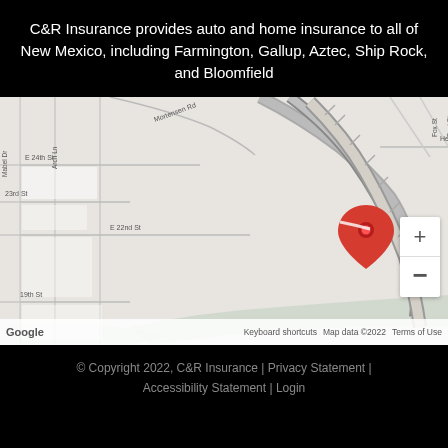C&R Insurance provides auto and home insurance to all of New Mexico, including Farmington, Gallup, Aztec, Ship Rock, and Bloomfield
[Figure (map): Google Maps screenshot showing the location of C&R Insurance in Farmington, New Mexico, near E 22nd St and a highway, with the Animas River visible. A red location pin marks the business. Street labels include Mortensen Rd, Herrera Rd, Fox St, Best St, Avery Ln, Mabel Dr, Arch Ln, E 24th St, 23rd St, E 22nd St, 19th St. Map data ©2022.]
© Copyright 2022, C&R Insurance | Privacy Statement | Accessibility Statement | Login